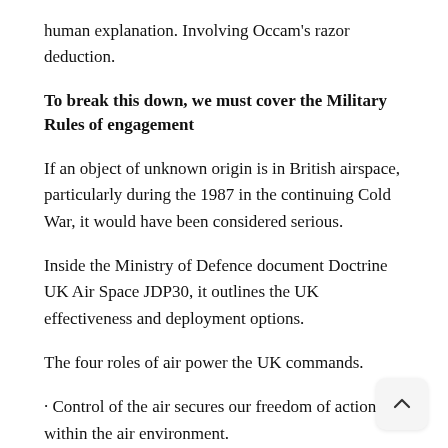human explanation. Involving Occam's razor deduction.
To break this down, we must cover the Military Rules of engagement
If an object of unknown origin is in British airspace, particularly during the 1987 in the continuing Cold War, it would have been considered serious.
Inside the Ministry of Defence document Doctrine UK Air Space JDP30, it outlines the UK effectiveness and deployment options.
The four roles of air power the UK commands.
• Control of the air secures our freedom of action within the air environment.
• Intelligence, surveillance and reconnaissance